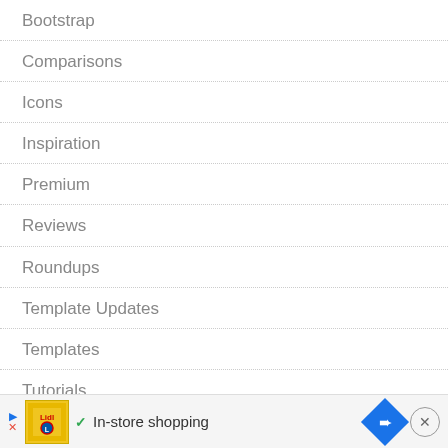Bootstrap
Comparisons
Icons
Inspiration
Premium
Reviews
Roundups
Template Updates
Templates
Tutorials
Web Design Resources
Word…
[Figure (screenshot): Advertisement banner at bottom: Lidl grocery ad with 'In-store shopping' text, navigation arrow icon, and close button]